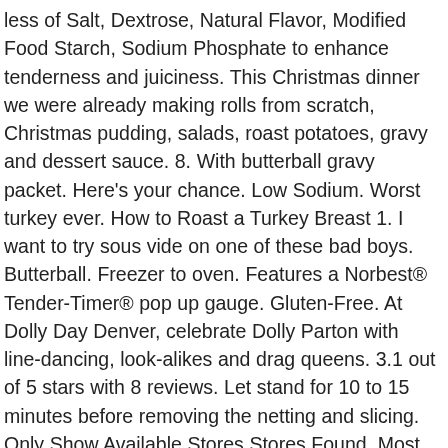less of Salt, Dextrose, Natural Flavor, Modified Food Starch, Sodium Phosphate to enhance tenderness and juiciness. This Christmas dinner we were already making rolls from scratch, Christmas pudding, salads, roast potatoes, gravy and dessert sauce. 8. With butterball gravy packet. Here's your chance. Low Sodium. Worst turkey ever. How to Roast a Turkey Breast 1. I want to try sous vide on one of these bad boys. Butterball. Freezer to oven. Features a Norbest® Tender-Timer® pop up gauge. Gluten-Free. At Dolly Day Denver, celebrate Dolly Parton with line-dancing, look-alikes and drag queens. 3.1 out of 5 stars with 8 reviews. Let stand for 10 to 15 minutes before removing the netting and slicing. Only Show Available Stores Stores Found. Most Popular. Butterball. Place the trivet and turkey breast into the pot and place celery and onions around it. The turkeys: Butterball, Jennie- O Oven Ready, King Soopers Private Selection, Honeysuckle White, Heidi's Hens and Diestel, all around 13 pounds. Antibiotics, on the other hand, are allowed by the Food and Drug Administration, but the animal